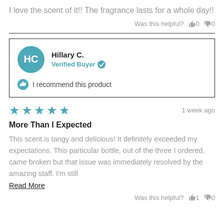I love the scent of it!! The fragrance lasts for a whole day!!
Was this helpful? 👍 0 👎 0
Hillary C. Verified Buyer
I recommend this product
★★★★★  1 week ago
More Than I Expected
This scent is tangy and delicious! It definitely exceeded my expectations. This particular bottle, out of the three I ordered, came broken but that issue was immediately resolved by the amazing staff. I'm still
Read More
Was this helpful? 👍 1 👎 0